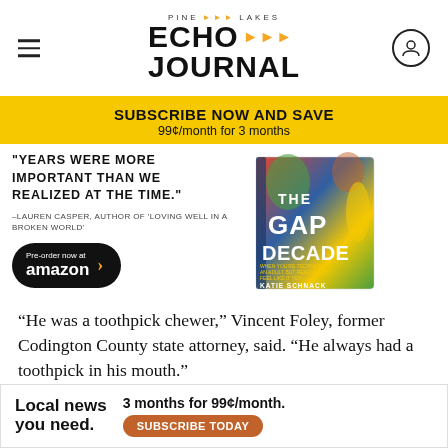Pine Lakes Echo Journal
SUBSCRIBE NOW AND SAVE
99¢/month for 3 months
[Figure (illustration): Book advertisement for 'The Gap Decade' by Katie Schnack with pull quote: 'YEARS WERE MORE IMPORTANT THAN WE REALIZED AT THE TIME.' -Lauren Casper, Author of 'Loving Well in a Broken World'. Pre-order now at amazon button.]
“He was a toothpick chewer,” Vincent Foley, former Codington County state attorney, said. “He always had a toothpick in his mouth.”
There was something about the sitting on the apart
Local news you need.   3 months for 99¢/month.  SUBSCRIBE TODAY